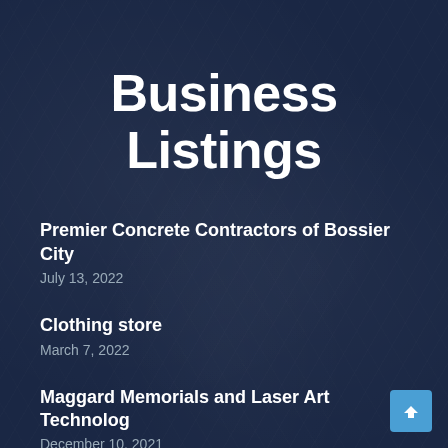Business Listings
Premier Concrete Contractors of Bossier City
July 13, 2022
Clothing store
March 7, 2022
Maggard Memorials and Laser Art Technology
December 10, 2021